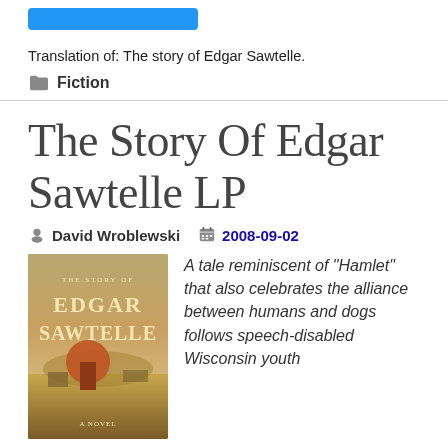[Figure (other): Blue button/bar at top of page]
Translation of: The story of Edgar Sawtelle.
Fiction
The Story Of Edgar Sawtelle LP
David Wroblewski   2008-09-02
[Figure (photo): Book cover of The Story of Edgar Sawtelle showing a farmhouse with a red barn on a golden prairie under a dramatic sky, with the title EDGAR SAWTELLE in gold/cream letters]
A tale reminiscent of "Hamlet" that also celebrates the alliance between humans and dogs follows speech-disabled Wisconsin youth